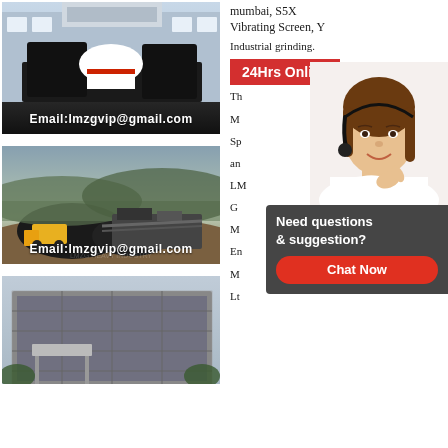[Figure (photo): Industrial crushing/vibrating screen machine in a factory setting with Email:lmzgvip@gmail.com overlay]
[Figure (photo): Outdoor mining operation with mobile crushing equipment and loader, Email:lmzgvip@gmail.com overlay]
[Figure (photo): Industrial building/facility exterior]
mumbai, S5X Vibrating Screen, Y
Industrial grinding.
24Hrs Online
Need questions & suggestion?
Chat Now
nomenclature,
cedarapids crusher
manuals crusher in
parameters in cynidization of gold
Limestone Crushing